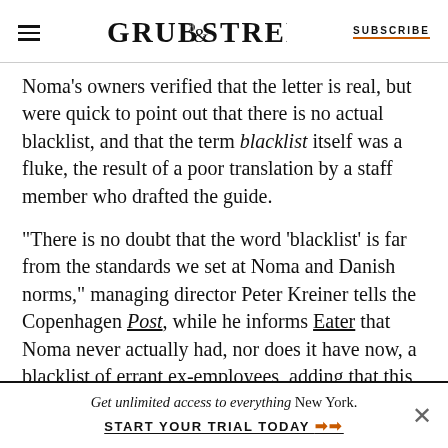GRUB STREET | SUBSCRIBE
Noma's owners verified that the letter is real, but were quick to point out that there is no actual blacklist, and that the term blacklist itself was a fluke, the result of a poor translation by a staff member who drafted the guide.
“There is no doubt that the word ‘blacklist’ is far from the standards we set at Noma and Danish norms,” managing director Peter Kreiner tells the Copenhagen Post, while he informs Eater that Noma never actually had, nor does it have now, a blacklist of errant ex-employees, adding that this
Get unlimited access to everything New York. START YOUR TRIAL TODAY ➡➡